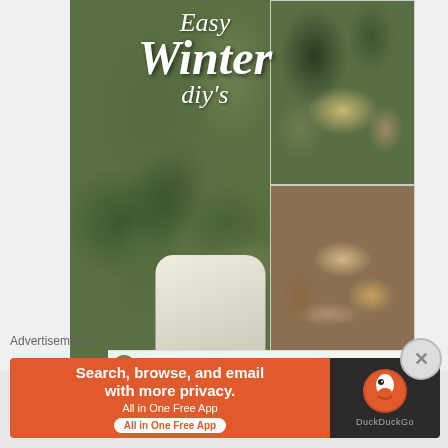[Figure (photo): Collage of winter DIY craft photos. Left: large photo of green eucalyptus/lamb's ear plant arrangement in a white ceramic pitcher jug, with text overlay 'Easy Winter diy's'. Top right: arrangement of dried/artificial greenery, ferns, yellow flowers on a wooden surface. Bottom right: wooden bead garland with rope/wicker basket on a brown wooden surface.]
Easy Winter diy's
DIY WOODLAND SIGN
Advertisements
[Figure (photo): DuckDuckGo advertisement banner. Orange left section with text 'Search, browse, and email with more privacy. All in One Free App'. Dark right section with DuckDuckGo duck logo and 'DuckDuckGo' text.]